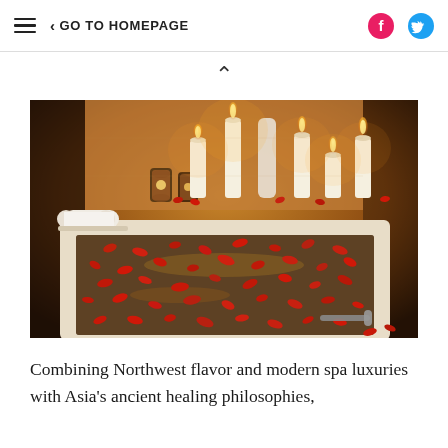≡  < GO TO HOMEPAGE
[Figure (photo): A luxurious bathtub filled with water and red rose petals, surrounded by glowing white candles and decorative lanterns, with rolled towels on the side. Warm, romantic spa ambiance.]
Combining Northwest flavor and modern spa luxuries with Asia's ancient healing philosophies,